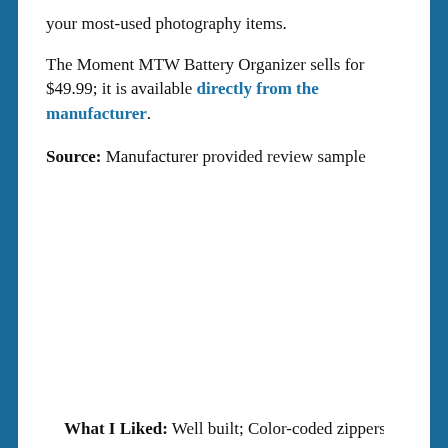your most-used photography items.
The Moment MTW Battery Organizer sells for $49.99; it is available directly from the manufacturer.
Source: Manufacturer provided review sample
What I Liked: Well built; Color-coded zippers